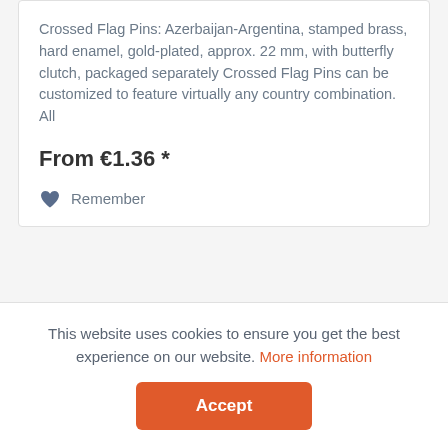Crossed Flag Pins: Azerbaijan-Argentina, stamped brass, hard enamel, gold-plated, approx. 22 mm, with butterfly clutch, packaged separately Crossed Flag Pins can be customized to feature virtually any country combination. All
From €1.36 *
Remember
[Figure (other): Loading spinner circle]
This website uses cookies to ensure you get the best experience on our website. More information
Accept